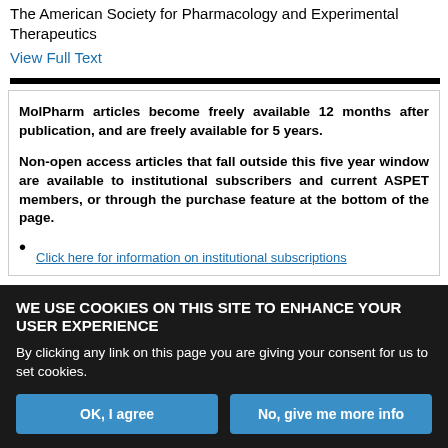The American Society for Pharmacology and Experimental Therapeutics
View Full Text
MolPharm articles become freely available 12 months after publication, and are freely available for 5 years.

Non-open access articles that fall outside this five year window are available to institutional subscribers and current ASPET members, or through the purchase feature at the bottom of the page.
Click here for information on institutional subscriptions
WE USE COOKIES ON THIS SITE TO ENHANCE YOUR USER EXPERIENCE

By clicking any link on this page you are giving your consent for us to set cookies.
OK, I agree
No, give me more info